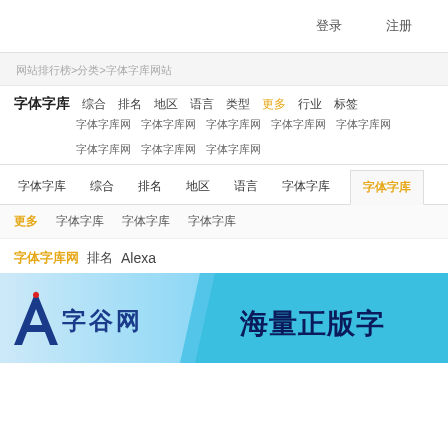登录 注册
网站排行榜 > 分类 > 字体字库网站
字体字库  综合  排名  地区  语言  类型  更多  行业  标签
字体字库网  字体字库网  字体字库网  字体字库网  字体字库网  字体字库网  字体字库网  字体字库网
字体字库  综合  排名  地区  语言  更多  字体字库  字体字库
更多  字体字库  字体字库  字体字库
字体字库网  排名  Alexa
[Figure (illustration): Banner for 字谷网 (font website) with logo and slogan 海量正版字]